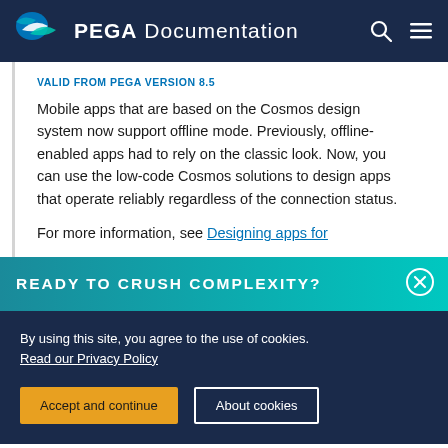PEGA Documentation
VALID FROM PEGA VERSION 8.5
Mobile apps that are based on the Cosmos design system now support offline mode. Previously, offline-enabled apps had to rely on the classic look. Now, you can use the low-code Cosmos solutions to design apps that operate reliably regardless of the connection status.
For more information, see Designing apps for
READY TO CRUSH COMPLEXITY?
By using this site, you agree to the use of cookies. Read our Privacy Policy
Accept and continue
About cookies